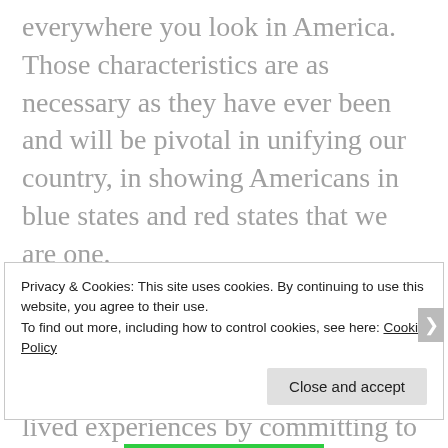everywhere you look in America. Those characteristics are as necessary as they have ever been and will be pivotal in unifying our country, in showing Americans in blue states and red states that we are one.
Like my grandmother, so many Black women will tell you they need nothing. We must honor their lived experiences by committing to resuscitate the soul of America, by building a more just and more equal society.
Privacy & Cookies: This site uses cookies. By continuing to use this website, you agree to their use.
To find out more, including how to control cookies, see here: Cookie Policy